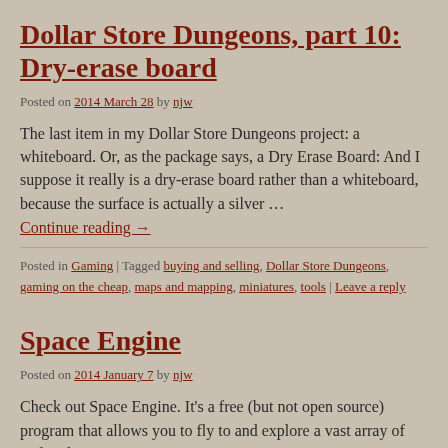Dollar Store Dungeons, part 10: Dry-erase board
Posted on 2014 March 28 by njw
The last item in my Dollar Store Dungeons project: a whiteboard. Or, as the package says, a Dry Erase Board: And I suppose it really is a dry-erase board rather than a whiteboard, because the surface is actually a silver …
Continue reading →
Posted in Gaming | Tagged buying and selling, Dollar Store Dungeons, gaming on the cheap, maps and mapping, miniatures, tools | Leave a reply
Space Engine
Posted on 2014 January 7 by njw
Check out Space Engine. It's a free (but not open source) program that allows you to fly to and explore a vast array of real and